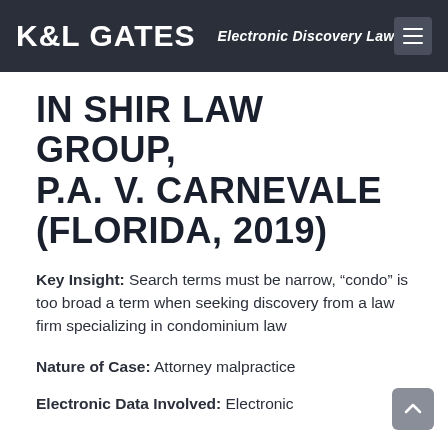K&L GATES   Electronic Discovery Law
IN SHIR LAW GROUP, P.A. V. CARNEVALE (FLORIDA, 2019)
Key Insight: Search terms must be narrow, “condo” is too broad a term when seeking discovery from a law firm specializing in condominium law
Nature of Case: Attorney malpractice
Electronic Data Involved: Electronic